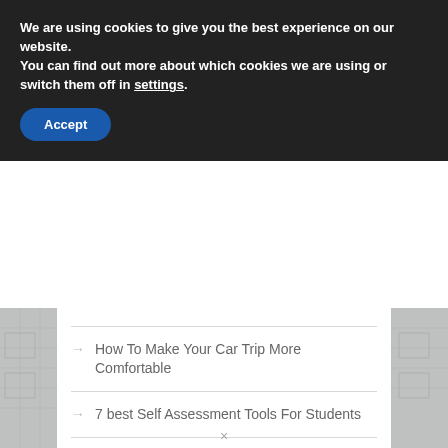We are using cookies to give you the best experience on our website.
You can find out more about which cookies we are using or switch them off in settings.
Accept
How To Make Your Car Trip More Comfortable
7 best Self Assessment Tools For Students
[Figure (photo): Advertisement banner with airplane cargo loading image and text WITHOUT REGARD TO POLITICS, RELIGION OR HEALTH TO ALL]
×